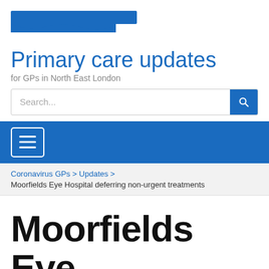[Figure (logo): Blue NHS-style logo bar at top of page]
Primary care updates
for GPs in North East London
Search...
≡ (navigation menu button)
Coronavirus GPs > Updates > Moorfields Eye Hospital deferring non-urgent treatments
Moorfields Eye Hospital deferring